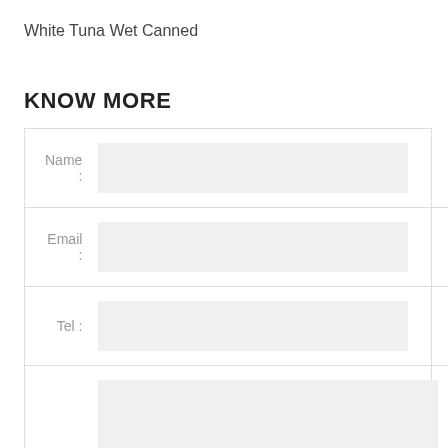White Tuna Wet Canned
KNOW MORE
| Field | Input |
| --- | --- |
| Name : |  |
| Email : |  |
| Tel : |  |
|  |  |